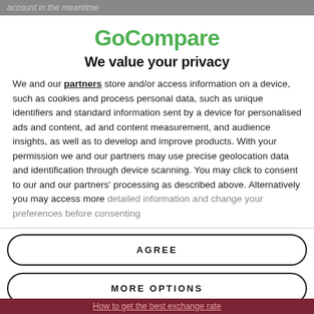account in the meantime
GoCompare
We value your privacy
We and our partners store and/or access information on a device, such as cookies and process personal data, such as unique identifiers and standard information sent by a device for personalised ads and content, ad and content measurement, and audience insights, as well as to develop and improve products. With your permission we and our partners may use precise geolocation data and identification through device scanning. You may click to consent to our and our partners' processing as described above. Alternatively you may access more detailed information and change your preferences before consenting
AGREE
MORE OPTIONS
How to get the best exchange rate